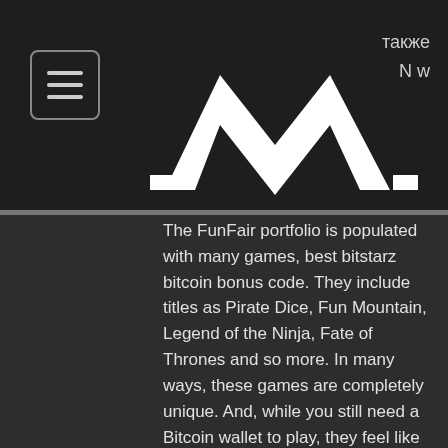[Figure (logo): White angular logo resembling stylized letter N or mountain peaks on dark background]
также
N w
The FunFair portfolio is populated with many games, best bitstarz bitcoin bonus code. They include titles as Pirate Dice, Fun Mountain, Legend of the Ninja, Fate of Thrones and so more. In many ways, these games are completely unique. And, while you still need a Bitcoin wallet to play, they feel like an entirely new experience altogether. In Fun Mountain, for example, you are mountaineer pushing a cart to the mountain top in a bid to collect the most BTC and win riches beyond your wildest dreams. Мобильный портал «битстарз» почти ничем не отличается от компьютерного. Home sellers try to capitalize on housing market and crypto, bitstarz 24. Bitstarz официальный сайт с мобильной версией